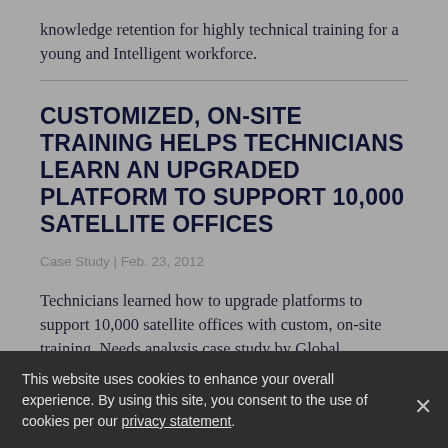knowledge retention for highly technical training for a young and Intelligent workforce.
CUSTOMIZED, ON-SITE TRAINING HELPS TECHNICIANS LEARN AN UPGRADED PLATFORM TO SUPPORT 10,000 SATELLITE OFFICES
Case Study | Feb. 23, 2012
Technicians learned how to upgrade platforms to support 10,000 satellite offices with custom, on-site training. Needs analysis case study by Global
This website uses cookies to enhance your overall experience. By using this site, you consent to the use of cookies per our privacy statement.